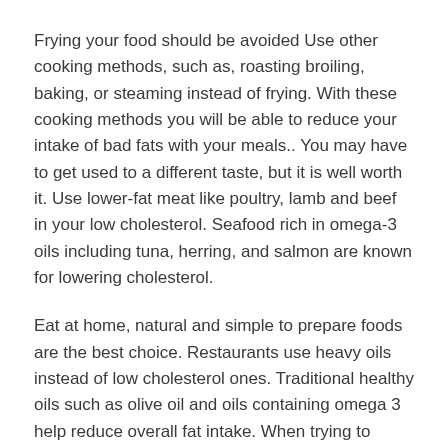Frying your food should be avoided Use other cooking methods, such as, roasting broiling, baking, or steaming instead of frying. With these cooking methods you will be able to reduce your intake of bad fats with your meals.. You may have to get used to a different taste, but it is well worth it. Use lower-fat meat like poultry, lamb and beef in your low cholesterol. Seafood rich in omega-3 oils including tuna, herring, and salmon are known for lowering cholesterol.
Eat at home, natural and simple to prepare foods are the best choice. Restaurants use heavy oils instead of low cholesterol ones. Traditional healthy oils such as olive oil and oils containing omega 3 help reduce overall fat intake. When trying to maintain and lower your cholesterol levels, preparing your own meals from a low cholesterol cookbook and eating at home is beneficial.